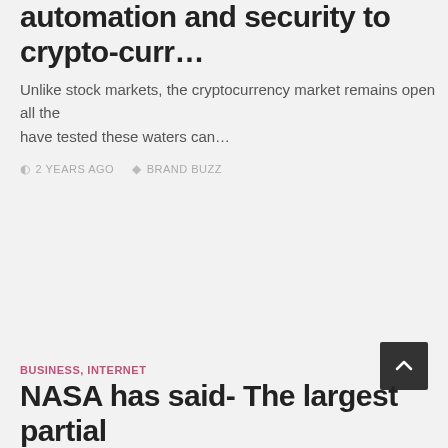automation and security to crypto-curr…
Unlike stock markets, the cryptocurrency market remains open all the… have tested these waters can…
2 YEARS AGO   BRAND BUZZ
BUSINESS, INTERNET
NASA has said- The largest partial